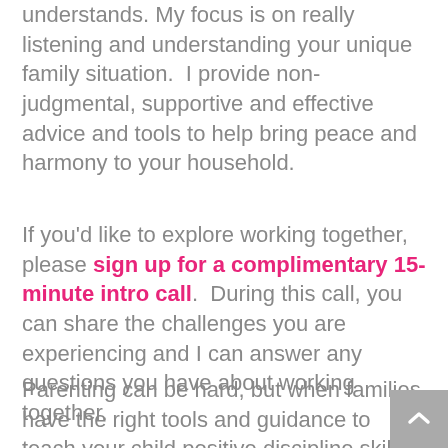understands. My focus is on really listening and understanding your unique family situation. I provide non-judgmental, supportive and effective advice and tools to help bring peace and harmony to your household.
If you'd like to explore working together, please sign up for a complimentary 15-minute intro call. During this call, you can share the challenges you are experiencing and I can answer any questions you have about working together.
Parenting can be hard, but when families have the right tools and guidance to teach your child positive discipline skills, parenting can be